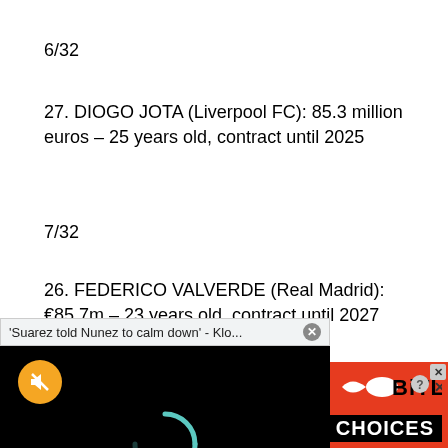6/32
27. DIOGO JOTA (Liverpool FC): 85.3 million euros – 25 years old, contract until 2025
7/32
26. FEDERICO VALVERDE (Real Madrid): €85.7m – 23 years old, contract until 2027
[Figure (screenshot): Video popup overlay showing 'Suarez told Nunez to calm down' - Klo... with a black video frame containing a loading spinner and mute button]
(Liverpool FC): €87.4
2025
[Figure (advertisement): BitLife advertisement banner with emojis on red background and 'REAL CHOICES' text]